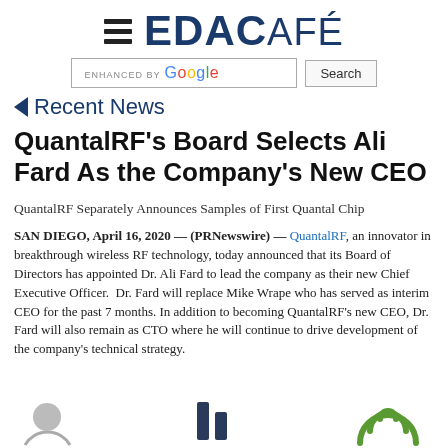EDACAFÉ
Recent News
QuantalRF's Board Selects Ali Fard As the Company's New CEO
QuantalRF Separately Announces Samples of First Quantal Chip
SAN DIEGO, April 16, 2020 — (PRNewswire) — QuantalRF, an innovator in breakthrough wireless RF technology, today announced that its Board of Directors has appointed Dr. Ali Fard to lead the company as their new Chief Executive Officer.  Dr. Fard will replace Mike Wrape who has served as interim CEO for the past 7 months. In addition to becoming QuantalRF's new CEO, Dr. Fard will also remain as CTO where he will continue to drive development of the company's technical strategy.
[Figure (logo): Bottom logos: partial circle icon, separator, green wifi/signal icon]